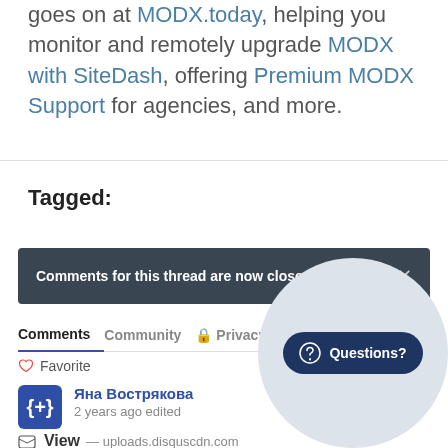goes on at MODX.today, helping you monitor and remotely upgrade MODX with SiteDash, offering Premium MODX Support for agencies, and more.
Tagged:
Comments for this thread are now closed
Comments  Community  Privacy Policy  1  Login
Favorite  Sort by Best
Яна Вострякова
2 years ago edited
View — uploads.disquscdn.com